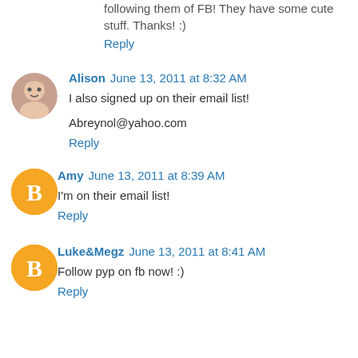following them of FB! They have some cute stuff. Thanks! :)
Reply
Alison  June 13, 2011 at 8:32 AM
I also signed up on their email list!
Abreynol@yahoo.com
Reply
Amy  June 13, 2011 at 8:39 AM
I'm on their email list!
Reply
Luke&Megz  June 13, 2011 at 8:41 AM
Follow pyp on fb now! :)
Reply